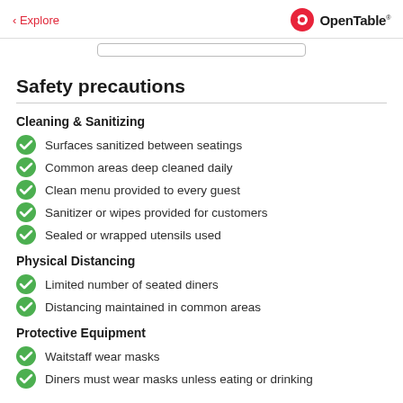< Explore  OpenTable
Safety precautions
Cleaning & Sanitizing
Surfaces sanitized between seatings
Common areas deep cleaned daily
Clean menu provided to every guest
Sanitizer or wipes provided for customers
Sealed or wrapped utensils used
Physical Distancing
Limited number of seated diners
Distancing maintained in common areas
Protective Equipment
Waitstaff wear masks
Diners must wear masks unless eating or drinking